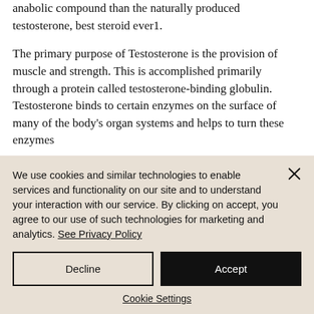The testosterone derivative is a more potent anabolic compound than the naturally produced testosterone, best steroid ever1.
The primary purpose of Testosterone is the provision of muscle and strength. This is accomplished primarily through a protein called testosterone-binding globulin. Testosterone binds to certain enzymes on the surface of many of the body's organ systems and helps to turn these enzymes
We use cookies and similar technologies to enable services and functionality on our site and to understand your interaction with our service. By clicking on accept, you agree to our use of such technologies for marketing and analytics. See Privacy Policy